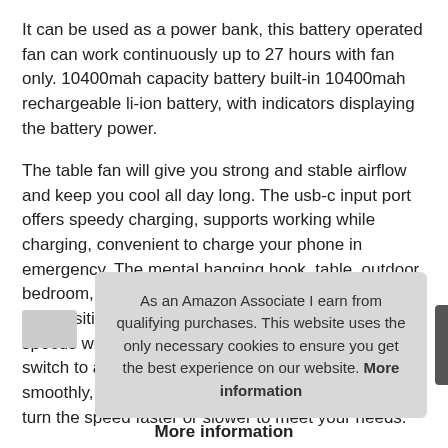It can be used as a power bank, this battery operated fan can work continuously up to 27 hours with fan only. 10400mah capacity battery built-in 10400mah rechargeable li-ion battery, with indicators displaying the battery power.
The table fan will give you strong and stable airflow and keep you cool all day long. The usb-c input port offers speedy charging, supports working while charging, convenient to charge your phone in emergency. The mental hanging hook, table, outdoor, bedroom, tents, notch allow you to hang the USB fan and position it for camping, slot, hammock, and RV. 4 speeds with stepless adjustment easily rotate the dial switch to adjust fan speeds from Level 1 to Level 4 smoothly, you can turn the speed faster or slower to meet your needs.
As an Amazon Associate I earn from qualifying purchases. This website uses the only necessary cookies to ensure you get the best experience on our website. More information
More information